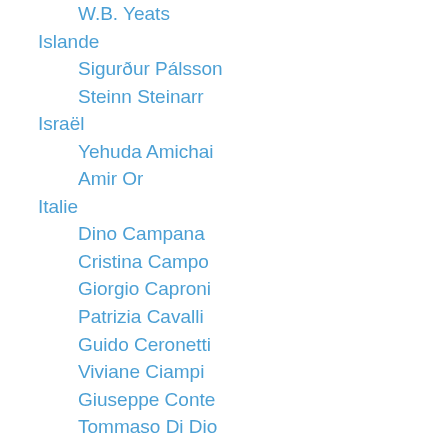W.B. Yeats
Islande
Sigurður Pálsson
Steinn Steinarr
Israël
Yehuda Amichai
Amir Or
Italie
Dino Campana
Cristina Campo
Giorgio Caproni
Patrizia Cavalli
Guido Ceronetti
Viviane Ciampi
Giuseppe Conte
Tommaso Di Dio
Giacomo Leopardi
Margherita Guidacci
Primo Levi
Erri de Luca